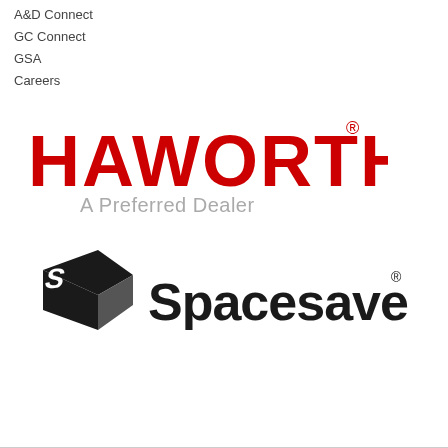A&D Connect
GC Connect
GSA
Careers
[Figure (logo): Haworth logo in red bold text with registered trademark symbol, and 'A Preferred Dealer' subtitle in gray]
[Figure (logo): Spacesaver logo with black stylized S-box icon and 'Spacesaver' text in bold black with registered trademark symbol]